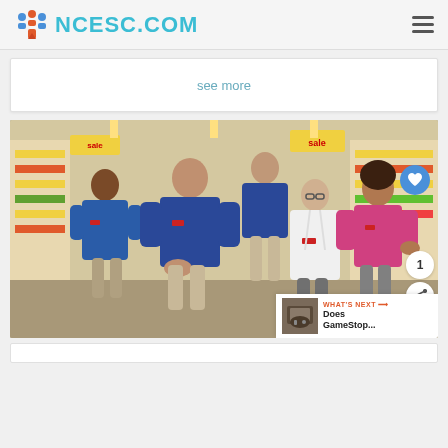NCESC.COM
see more
[Figure (photo): Group of five retail store employees posing in a drugstore/pharmacy aisle. Three wearing blue uniforms, one in a white lab coat, one in a pink blouse. Store shelves with sale signs visible in the background.]
WHAT'S NEXT → Does GameStop...